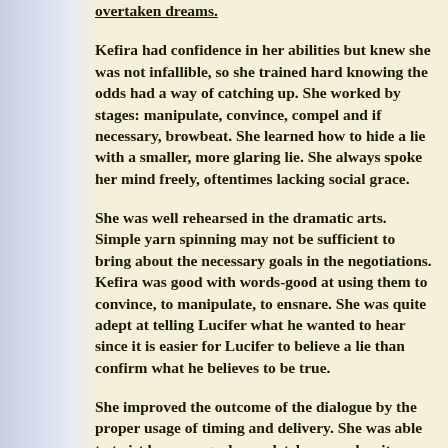overtaken dreams.
Kefira had confidence in her abilities but knew she was not infallible, so she trained hard knowing the odds had a way of catching up. She worked by stages: manipulate, convince, compel and if necessary, browbeat. She learned how to hide a lie with a smaller, more glaring lie. She always spoke her mind freely, oftentimes lacking social grace.
She was well rehearsed in the dramatic arts. Simple yarn spinning may not be sufficient to bring about the necessary goals in the negotiations. Kefira was good with words-good at using them to convince, to manipulate, to ensnare. She was quite adept at telling Lucifer what he wanted to hear since it is easier for Lucifer to believe a lie than confirm what he believes to be true.
She improved the outcome of the dialogue by the proper usage of timing and delivery. She was able to twist her own goal completely around so it was Lucifer who made the request to her. Kefira added